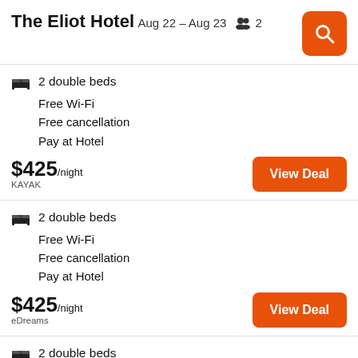The Eliot Hotel
Aug 22 – Aug 23   👥 2
2 double beds
Free Wi-Fi
Free cancellation
Pay at Hotel
$425/night
KAYAK
2 double beds
Free Wi-Fi
Free cancellation
Pay at Hotel
$425/night
eDreams
2 double beds
Free Wi-Fi
Free cancellation
Pay at Hotel